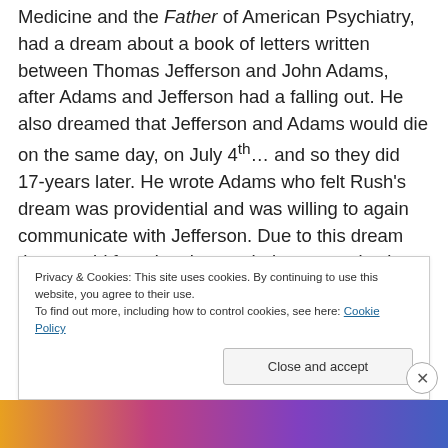Medicine and the Father of American Psychiatry, had a dream about a book of letters written between Thomas Jefferson and John Adams, after Adams and Jefferson had a falling out. He also dreamed that Jefferson and Adams would die on the same day, on July 4th… and so they did 17-years later. He wrote Adams who felt Rush's dream was providential and was willing to again communicate with Jefferson. Due to this dream the two old founders began their communication again, and years later their letters were compiled into a book and those plus so many
Privacy & Cookies: This site uses cookies. By continuing to use this website, you agree to their use. To find out more, including how to control cookies, see here: Cookie Policy
Close and accept